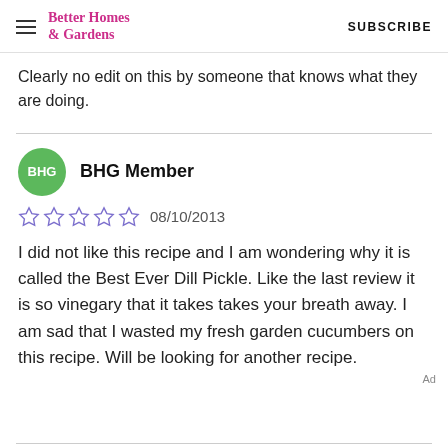Better Homes & Gardens  SUBSCRIBE
Clearly no edit on this by someone that knows what they are doing.
BHG Member
08/10/2013
I did not like this recipe and I am wondering why it is called the Best Ever Dill Pickle. Like the last review it is so vinegary that it takes takes your breath away. I am sad that I wasted my fresh garden cucumbers on this recipe. Will be looking for another recipe.